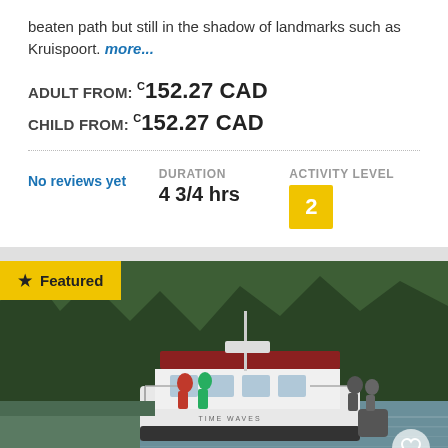beaten path but still in the shadow of landmarks such as Kruispoort. more...
ADULT FROM: C152.27 CAD
CHILD FROM: C152.27 CAD
No reviews yet
DURATION 4 3/4 hrs
ACTIVITY LEVEL 2
[Figure (photo): A tourist boat named 'Time Waves' on calm water near a forested shoreline, with passengers aboard. A yellow 'Featured' badge is overlaid in the top-left corner and a heart icon in the bottom-right.]
Whale Watching & Seafood Fest
Icy Strait Point, Alaska